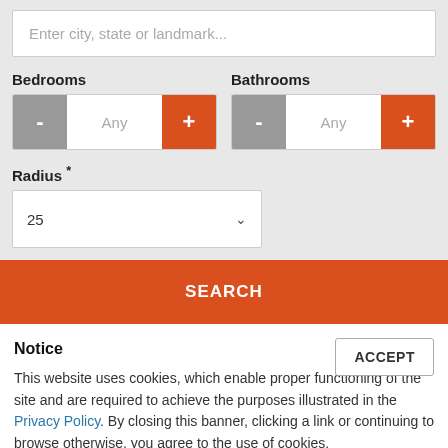Enter city, state or landmark...
Bedrooms
Bathrooms
Radius *
SEARCH
Notice
ACCEPT
This website uses cookies, which enable proper functioning of the site and are required to achieve the purposes illustrated in the Privacy Policy. By closing this banner, clicking a link or continuing to browse otherwise, you agree to the use of cookies.